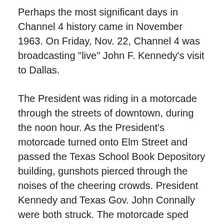Perhaps the most significant days in Channel 4 history came in November 1963. On Friday, Nov. 22, Channel 4 was broadcasting "live" John F. Kennedy's visit to Dallas.
The President was riding in a motorcade through the streets of downtown, during the noon hour. As the President's motorcade turned onto Elm Street and passed the Texas School Book Depository building, gunshots pierced through the noises of the cheering crowds. President Kennedy and Texas Gov. John Connally were both struck. The motorcade sped away to Parkland Hospital. While the governor survived his wound, the president died about an hour later on the operating table.
Two days after the President's assassination, as